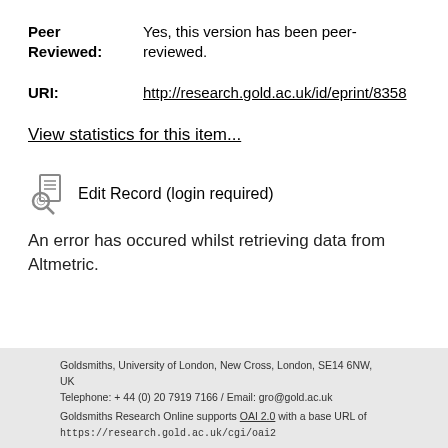Peer Reviewed: Yes, this version has been peer-reviewed.
URI: http://research.gold.ac.uk/id/eprint/8358
View statistics for this item...
Edit Record (login required)
An error has occured whilst retrieving data from Altmetric.
Goldsmiths, University of London, New Cross, London, SE14 6NW, UK
Telephone: + 44 (0) 20 7919 7166 / Email: gro@gold.ac.uk

Goldsmiths Research Online supports OAI 2.0 with a base URL of https://research.gold.ac.uk/cgi/oai2

Copyright 2018 Goldsmiths, University of London.